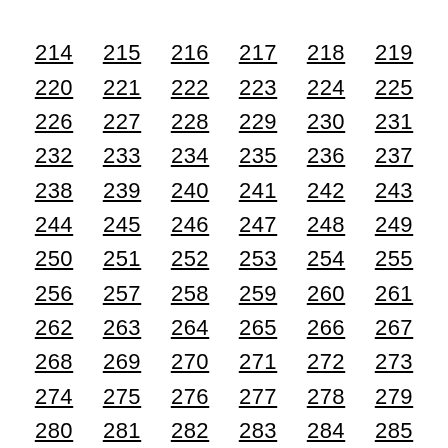214 215 216 217 218 219
220 221 222 223 224 225
226 227 228 229 230 231
232 233 234 235 236 237
238 239 240 241 242 243
244 245 246 247 248 249
250 251 252 253 254 255
256 257 258 259 260 261
262 263 264 265 266 267
268 269 270 271 272 273
274 275 276 277 278 279
280 281 282 283 284 285